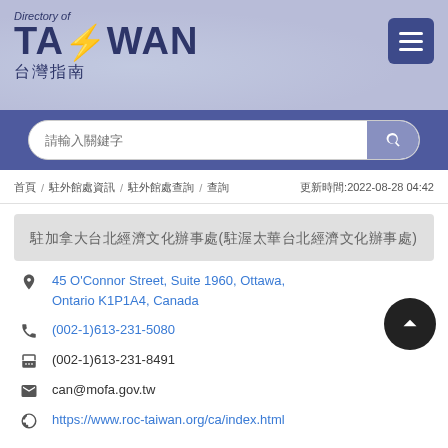[Figure (logo): Directory of TAIWAN 台灣指南 logo with menu button]
[Figure (screenshot): Search bar with placeholder text and search icon button]
首頁 / 駐外館處資訊 / 駐外館處查詢 / 查詢  更新時間:2022-08-28 04:42
駐加拿大台北經濟文化辦事處(駐渥太華台北經濟文化辦事處)
45 O'Connor Street, Suite 1960, Ottawa, Ontario K1P1A4, Canada
(002-1)613-231-5080
(002-1)613-231-8491
can@mofa.gov.tw
https://www.roc-taiwan.org/ca/index.html